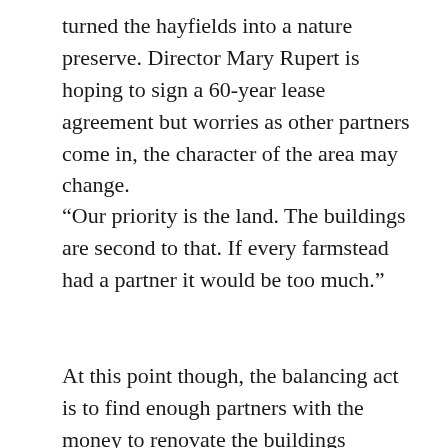turned the hayfields into a nature preserve. Director Mary Rupert is hoping to sign a 60-year lease agreement but worries as other partners come in, the character of the area may change.
“Our priority is the land. The buildings are second to that. If every farmstead had a partner it would be too much.”
At this point though, the balancing act is to find enough partners with the money to renovate the buildings